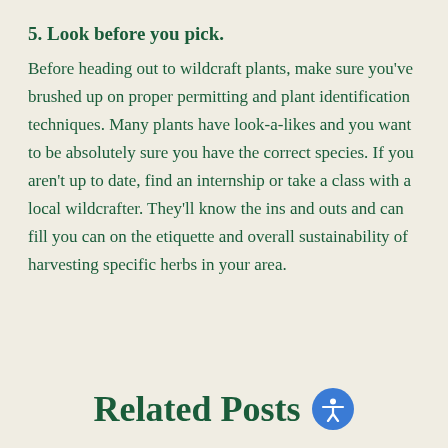5. Look before you pick. Before heading out to wildcraft plants, make sure you've brushed up on proper permitting and plant identification techniques. Many plants have look-a-likes and you want to be absolutely sure you have the correct species. If you aren't up to date, find an internship or take a class with a local wildcrafter. They'll know the ins and outs and can fill you can on the etiquette and overall sustainability of harvesting specific herbs in your area.
Related Posts